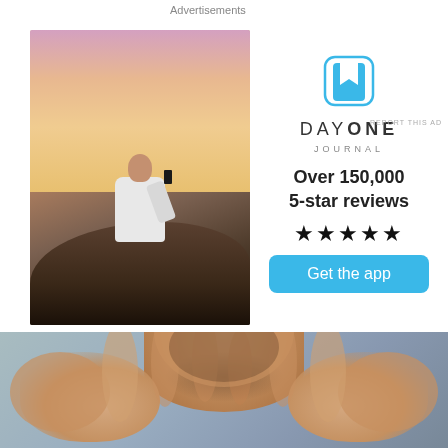Advertisements
[Figure (photo): Person sitting on rocks photographing a sunset with a phone, wearing a white t-shirt, viewed from behind]
[Figure (logo): Day One Journal app icon - blue bookmark symbol in a rounded square]
DAY ONE
JOURNAL
Over 150,000 5-star reviews
★★★★★
Get the app
REPORT THIS AD
[Figure (photo): Close-up of a bearded man with hands raised and open palms facing the camera, blurred background]